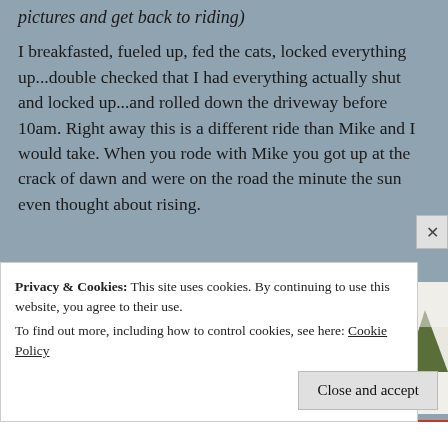pictures and get back to riding)
I breakfasted, fueled up, fed the cats, locked everything up...double checked that I had everything actually shut and locked up...and rolled down the driveway before 10am. Right away this is a different ride than Mike and I would take. When you rode with Mike you got up at the crack of dawn and were on the road the minute the sun even thought about rising.
[Figure (photo): Snow-covered evergreen trees against a bright white sky, winter landscape photograph]
Privacy & Cookies: This site uses cookies. By continuing to use this website, you agree to their use.
To find out more, including how to control cookies, see here: Cookie Policy
Close and accept